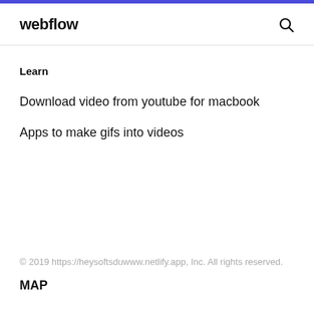webflow
Learn
Download video from youtube for macbook
Apps to make gifs into videos
© 2019 https://heysoftsduwww.netlify.app, Inc. All rights reserved.
MAP